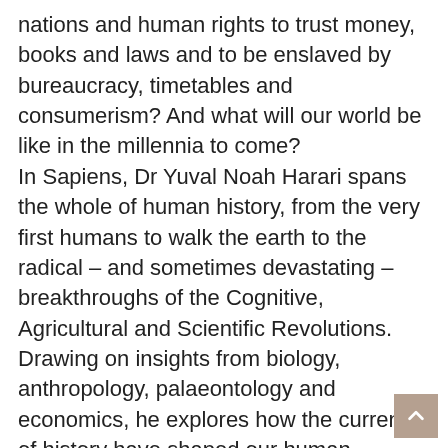nations and human rights to trust money, books and laws and to be enslaved by bureaucracy, timetables and consumerism? And what will our world be like in the millennia to come? In Sapiens, Dr Yuval Noah Harari spans the whole of human history, from the very first humans to walk the earth to the radical – and sometimes devastating – breakthroughs of the Cognitive, Agricultural and Scientific Revolutions. Drawing on insights from biology, anthropology, palaeontology and economics, he explores how the currents of history have shaped our human societies, the animals and plants around us, and even our personalities. Have we become happier as history has unfolded? Can we ever free our behaviour from the heritage of our ancestors? And what, if anything, can we do to influence the course of the centuries to come? Bold, wide-ranging and provocative, Sapiens